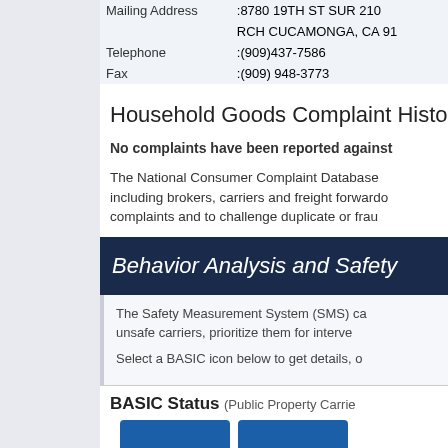| Mailing Address | :8780 19TH ST SUR 210 |
|  | RCH CUCAMONGA, CA 91 |
| Telephone | :(909)437-7586 |
| Fax | :(909) 948-3773 |
Household Goods Complaint Histo
No complaints have been reported against
The National Consumer Complaint Database including brokers, carriers and freight forwardo complaints and to challenge duplicate or frau
Behavior Analysis and Safety
The Safety Measurement System (SMS) ca unsafe carriers, prioritize them for interve
Select a BASIC icon below to get details, o
BASIC Status (Public Property Carrie